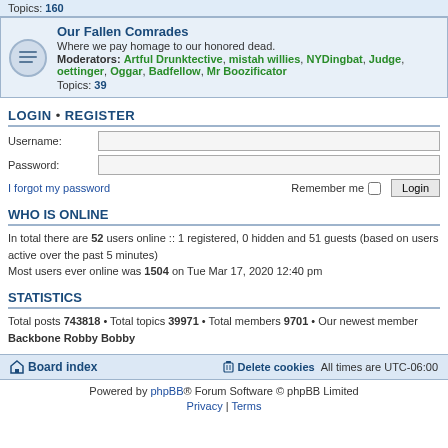Topics: 160
Our Fallen Comrades
Where we pay homage to our honored dead.
Moderators: Artful Drunktective, mistah willies, NYDingbat, Judge, oettinger, Oggar, Badfellow, Mr Boozificator
Topics: 39
LOGIN • REGISTER
Username:
Password:
I forgot my password
Remember me  Login
WHO IS ONLINE
In total there are 52 users online :: 1 registered, 0 hidden and 51 guests (based on users active over the past 5 minutes)
Most users ever online was 1504 on Tue Mar 17, 2020 12:40 pm
STATISTICS
Total posts 743818 • Total topics 39971 • Total members 9701 • Our newest member Backbone Robby Bobby
Board index   Delete cookies   All times are UTC-06:00
Powered by phpBB® Forum Software © phpBB Limited
Privacy | Terms